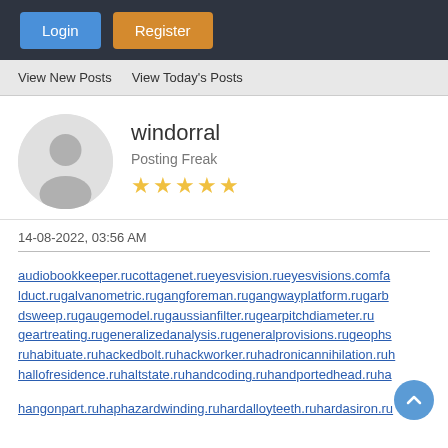[Figure (screenshot): Forum page header with Login and Register buttons on dark background]
View New Posts   View Today's Posts
[Figure (photo): Default user avatar silhouette on grey circular background]
windorral
Posting Freak
★★★★★
14-08-2022, 03:56 AM
audiobookkeeper.rucottagenet.rueyesvision.rueyesvisions.comfalduct.rugalvanometric.rugangforeman.rugangwayplatform.rugarbdsweep.rugaugemodel.rugaussianfilter.rugearpitchdiameter.rugeartreating.rugeneralizedanalysis.rugeneralprovisions.rugeophysruhabituate.ruhackedbolt.ruhackworker.ruhadronicannihilation.ruhallofresidence.ruhaltstate.ruhandcoding.ruhandportedhead.ruha
hangonpart.ruhaphazardwinding.ruhardalloyteeth.ruhardasiron.ru